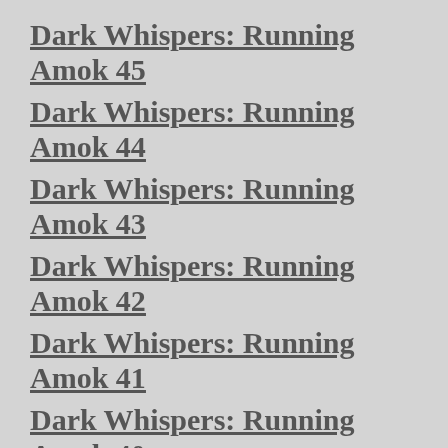Dark Whispers: Running Amok 45
Dark Whispers: Running Amok 44
Dark Whispers: Running Amok 43
Dark Whispers: Running Amok 42
Dark Whispers: Running Amok 41
Dark Whispers: Running Amok 40